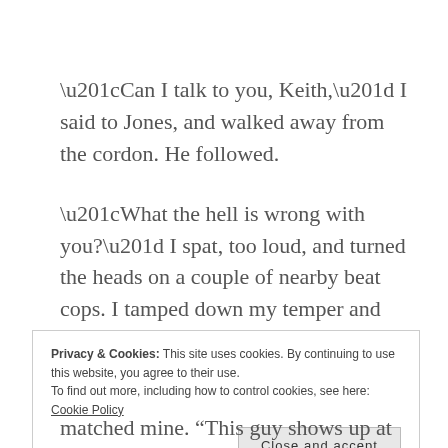“Can I talk to you, Keith,” I said to Jones, and walked away from the cordon. He followed.
“What the hell is wrong with you?” I spat, too loud, and turned the heads on a couple of nearby beat cops. I tamped down my temper and dropped into a church whisper. “You don’t bring a civilian to a crime scene! What were you thinking—?"
Privacy & Cookies: This site uses cookies. By continuing to use this website, you agree to their use.
To find out more, including how to control cookies, see here: Cookie Policy
Close and accept
matched mine. “This guy shows up at the gate